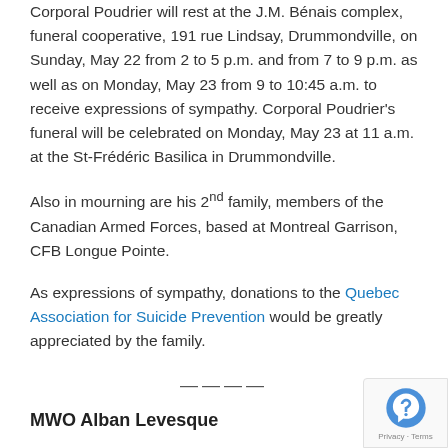Corporal Poudrier will rest at the J.M. Bénais complex, funeral cooperative, 191 rue Lindsay, Drummondville, on Sunday, May 22 from 2 to 5 p.m. and from 7 to 9 p.m. as well as on Monday, May 23 from 9 to 10:45 a.m. to receive expressions of sympathy. Corporal Poudrier's funeral will be celebrated on Monday, May 23 at 11 a.m. at the St-Frédéric Basilica in Drummondville.
Also in mourning are his 2nd family, members of the Canadian Armed Forces, based at Montreal Garrison, CFB Longue Pointe.
As expressions of sympathy, donations to the Quebec Association for Suicide Prevention would be greatly appreciated by the family.
———
MWO Alban Levesque